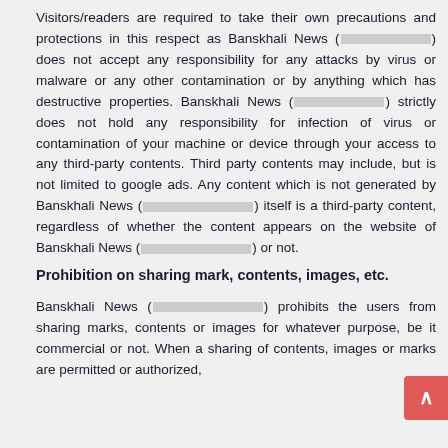Visitors/readers are required to take their own precautions and protections in this respect as Banskhali News ( [redacted] ) does not accept any responsibility for any attacks by virus or malware or any other contamination or by anything which has destructive properties. Banskhali News ( [redacted] ) strictly does not hold any responsibility for infection of virus or contamination of your machine or device through your access to any third-party contents. Third party contents may include, but is not limited to google ads. Any content which is not generated by Banskhali News ( [redacted] ) itself is a third-party content, regardless of whether the content appears on the website of Banskhali News ( [redacted] ) or not.
Prohibition on sharing mark, contents, images, etc.
Banskhali News ( [redacted] ) prohibits the users from sharing marks, contents or images for whatever purpose, be it commercial or not. When a sharing of contents, images or marks are permitted or authorized,